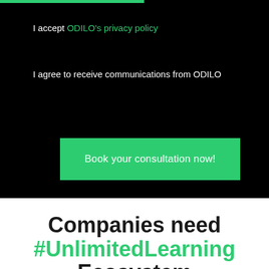I accept ODILO's privacy policy
I agree to receive communications from ODILO
Book your consultation now!
Companies need #UnlimitedLearning Ecosystem